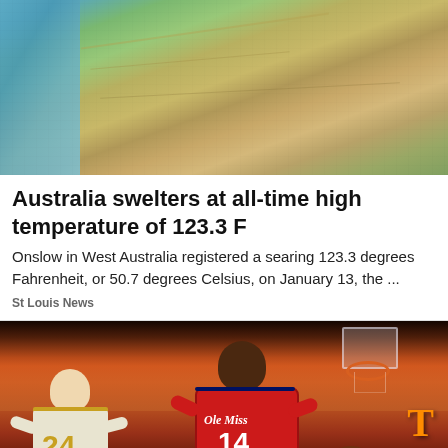[Figure (photo): Aerial view of a coastal town in West Australia, showing the ocean/beach on the left and residential streets and vegetation on the right]
Australia swelters at all-time high temperature of 123.3 F
Onslow in West Australia registered a searing 123.3 degrees Fahrenheit, or 50.7 degrees Celsius, on January 13, the ...
St Louis News
[Figure (photo): Basketball game photo showing an Ole Miss player wearing jersey number 14 dribbling against a defender wearing number 24, with Tennessee arena in the background]